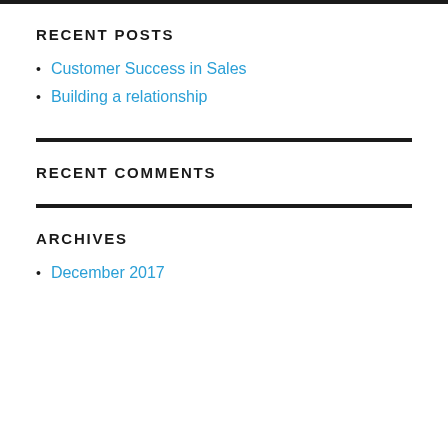RECENT POSTS
Customer Success in Sales
Building a relationship
RECENT COMMENTS
ARCHIVES
December 2017